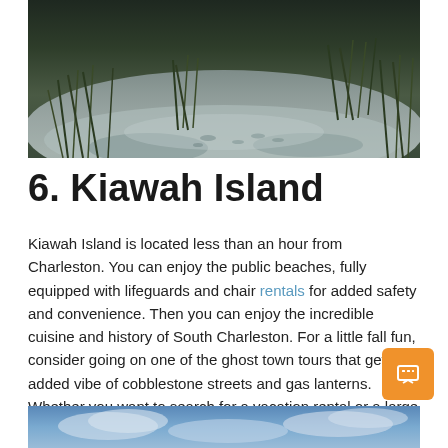[Figure (photo): Dark moody landscape photo of a marshy area with sandy mudflats, sparse grass and wetland vegetation, taken at dusk or dawn with muted blue-grey tones]
6.  Kiawah Island
Kiawah Island is located less than an hour from Charleston. You can enjoy the public beaches, fully equipped with lifeguards and chair rentals for added safety and convenience. Then you can enjoy the incredible cuisine and history of South Charleston. For a little fall fun, consider going on one of the ghost town tours that get the added vibe of cobblestone streets and gas lanterns. Whether you want to search for a vacation rental or a large resort, there are enough options to find the right one for you.
[Figure (photo): Partial photo at bottom showing a sky with clouds, blue tones, suggesting a coastal or outdoor scene]